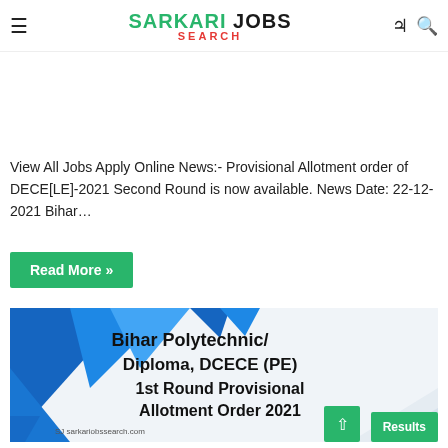SARKARI JOBS SEARCH
Bihar Diploma DECE[LE] 2nd Round Provisional Seat Allotment order 2021
View All Jobs Apply Online News:- Provisional Allotment order of DECE[LE]-2021 Second Round is now available. News Date: 22-12-2021 Bihar…
Read More »
[Figure (illustration): Graphic banner with blue geometric shapes on left and text reading: Bihar Polytechnic/ Diploma, DCECE (PE) 1st Round Provisional Allotment Order 2021, with sarkariobssearch.com branding at bottom left]